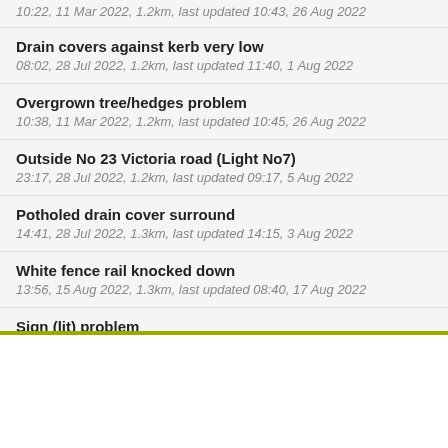10:22, 11 Mar 2022, 1.2km, last updated 10:43, 26 Aug 2022
Drain covers against kerb very low
08:02, 28 Jul 2022, 1.2km, last updated 11:40, 1 Aug 2022
Overgrown tree/hedges problem
10:38, 11 Mar 2022, 1.2km, last updated 10:45, 26 Aug 2022
Outside No 23 Victoria road (Light No7)
23:17, 28 Jul 2022, 1.2km, last updated 09:17, 5 Aug 2022
Potholed drain cover surround
14:41, 28 Jul 2022, 1.3km, last updated 14:15, 3 Aug 2022
White fence rail knocked down
13:56, 15 Aug 2022, 1.3km, last updated 08:40, 17 Aug 2022
Sign (lit) problem
12:10, 13 Jul 2022, 1.3km, last updated 08:13, 18 Jul 2022